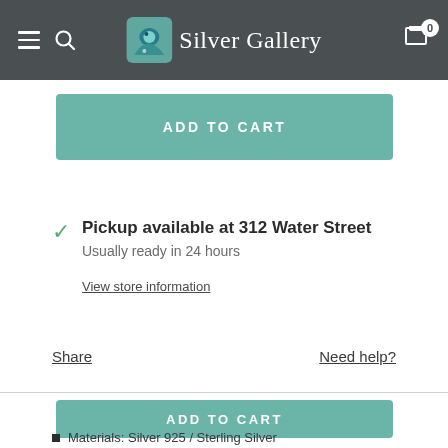Silver Gallery
ADD TO CART
Pickup available at 312 Water Street
Usually ready in 24 hours
View store information
Share
Need help?
ADD TO CART
Materials: Silver 925 / Sterling Silver